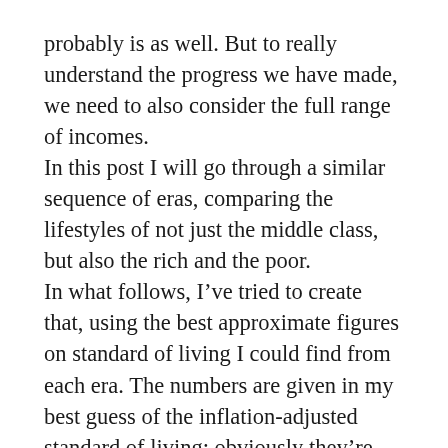probably is as well. But to really understand the progress we have made, we need to also consider the full range of incomes.
In this post I will go through a similar sequence of eras, comparing the lifestyles of not just the middle class, but also the rich and the poor.
In what follows, I've tried to create that, using the best approximate figures on standard of living I could find from each era. The numbers are given in my best guess of the inflation-adjusted standard of living; obviously they're much more precise in the 1980s to today than they are for earlier eras.
I've summarized all these income estimates in